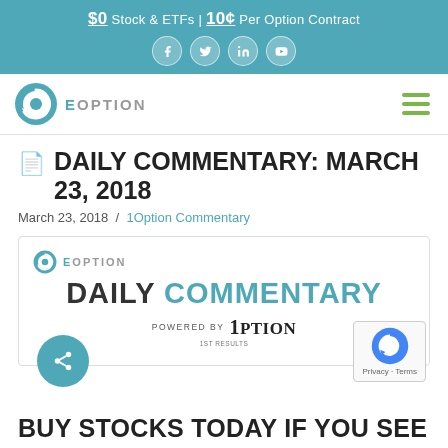$0 Stock & ETFs | 10¢ Per Option Contract
[Figure (logo): eOption logo with circular arrow icon and text 'eOption']
DAILY COMMENTARY: MARCH 23, 2018
March 23, 2018 / 1Option Commentary
[Figure (infographic): eOption Daily Commentary card powered by 1Option with logo, headline 'DAILY COMMENTARY' in black and teal, and 'POWERED BY 1OPTION' tagline]
BUY STOCKS TODAY IF YOU SEE